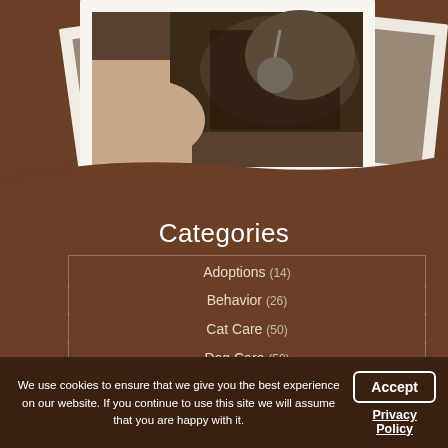[Figure (photo): Polaroid-style stacked photo frames showing a cat being examined with a stethoscope by a veterinarian]
Categories
Adoptions (14)
Behavior (26)
Cat Care (50)
Dog Care (50)
Exotic Care (35)
General Care (103)
We use cookies to ensure that we give you the best experience on our website. If you continue to use this site we will assume that you are happy with it.
Accept
Privacy Policy